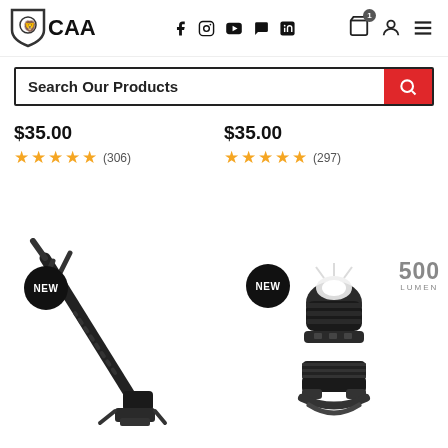CAA — navigation header with logo, social icons, cart, profile, menu
Search Our Products
$35.00 ★★★★☆ (306)
$35.00 ★★★★☆ (297)
[Figure (photo): NEW badge product - black tactical tool/weapon attachment pointing upward-left, on white background]
[Figure (photo): NEW badge product - 500 Lumen tactical flashlight/light attachment, black, mounted on rail, on white background]